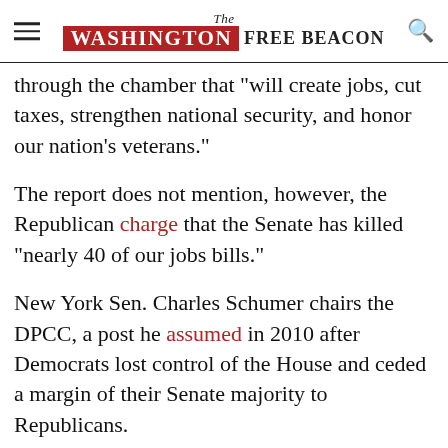The Washington Free Beacon
through the chamber that "will create jobs, cut taxes, strengthen national security, and honor our nation's veterans."
The report does not mention, however, the Republican charge that the Senate has killed "nearly 40 of our jobs bills."
New York Sen. Charles Schumer chairs the DPCC, a post he assumed in 2010 after Democrats lost control of the House and ceded a margin of their Senate majority to Republicans.
Here are five examples of incomplete, misleading, or simply incorrect information in the